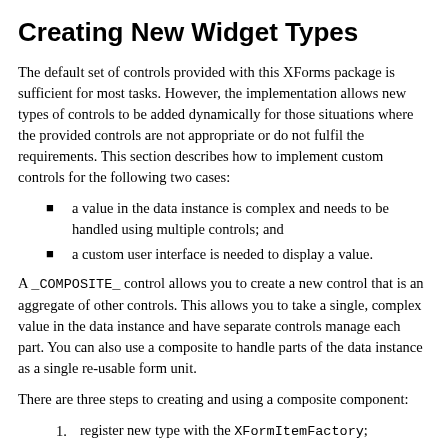Creating New Widget Types
The default set of controls provided with this XForms package is sufficient for most tasks. However, the implementation allows new types of controls to be added dynamically for those situations where the provided controls are not appropriate or do not fulfil the requirements. This section describes how to implement custom controls for the following two cases:
a value in the data instance is complex and needs to be handled using multiple controls; and
a custom user interface is needed to display a value.
A _COMPOSITE_ control allows you to create a new control that is an aggregate of other controls. This allows you to take a single, complex value in the data instance and have separate controls manage each part. You can also use a composite to handle parts of the data instance as a single re-usable form unit.
There are three steps to creating and using a composite component:
register new type with the XFormItemFactory;
set the list of child components as the items property of the